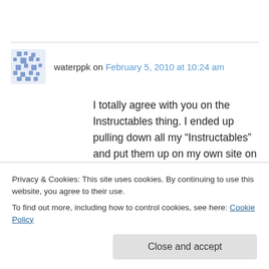waterppk on February 5, 2010 at 10:24 am
I totally agree with you on the Instructables thing. I ended up pulling down all my “Instructables” and put them up on my own site on my own hosting so I have control over not putting ads/etc on them.

I wasn’t happy at all about charging for features that were used freely before and adding nothing
Privacy & Cookies: This site uses cookies. By continuing to use this website, you agree to their use.
To find out more, including how to control cookies, see here: Cookie Policy
Close and accept
http://chrismever.org/wordpress/2009/06/instruct